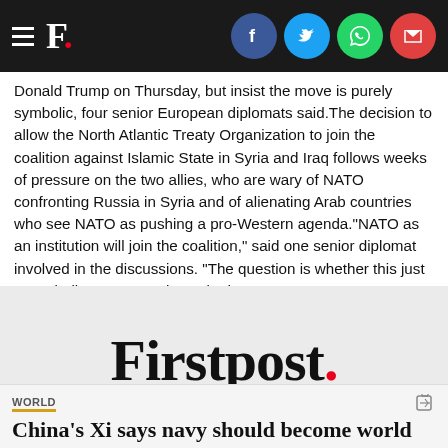F. [Firstpost navigation bar with social share icons: Facebook, Twitter, WhatsApp, Email]
Donald Trump on Thursday, but insist the move is purely symbolic, four senior European diplomats said.The decision to allow the North Atlantic Treaty Organization to join the coalition against Islamic State in Syria and Iraq follows weeks of pressure on the two allies, who are wary of NATO confronting Russia in Syria and of alienating Arab countries who see NATO as pushing a pro-Western agenda."NATO as an institution will join the coalition," said one senior diplomat involved in the discussions. "The question is whether this just a symbolic gesture to the United States
[Figure (logo): Firstpost logo in large serif font with a red dot after the period]
WORLD
China's Xi says navy should become world class | Reuters